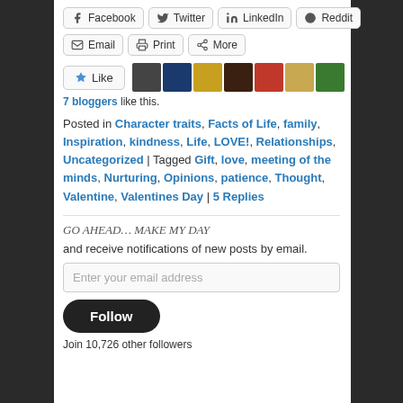[Figure (screenshot): Social sharing buttons row 1: Facebook, Twitter, LinkedIn, Reddit]
[Figure (screenshot): Social sharing buttons row 2: Email, Print, More]
[Figure (screenshot): Like button with 7 blogger avatars]
7 bloggers like this.
Posted in Character traits, Facts of Life, family, Inspiration, kindness, Life, LOVE!, Relationships, Uncategorized | Tagged Gift, love, meeting of the minds, Nurturing, Opinions, patience, Thought, Valentine, Valentines Day | 5 Replies
GO AHEAD… MAKE MY DAY
and receive notifications of new posts by email.
Enter your email address
Follow
Join 10,726 other followers